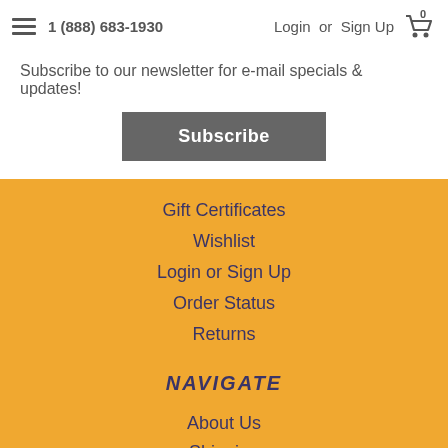1 (888) 683-1930  Login or Sign Up
Subscribe to our newsletter for e-mail specials & updates!
Subscribe
Gift Certificates
Wishlist
Login or Sign Up
Order Status
Returns
NAVIGATE
About Us
Shipping
Returns
Privacy Policy
Blog